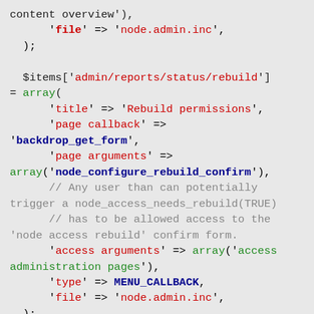PHP code snippet showing menu item array definitions with file, title, page callback, page arguments, access arguments, and type fields.